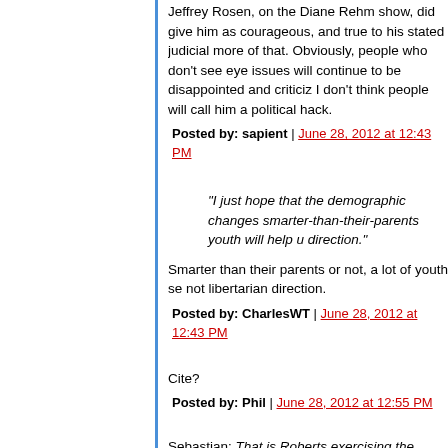Jeffrey Rosen, on the Diane Rehm show, did give him as courageous, and true to his stated judicial more of that. Obviously, people who don't see eye issues will continue to be disappointed and criticiz I don't think people will call him a political hack.
Posted by: sapient | June 28, 2012 at 12:43 PM
"I just hope that the demographic changes smarter-than-their-parents youth will help u direction."
Smarter than their parents or not, a lot of youth se not libertarian direction.
Posted by: CharlesWT | June 28, 2012 at 12:43 PM
Cite?
Posted by: Phil | June 28, 2012 at 12:55 PM
Sebastian: That is Roberts exercising the judicial